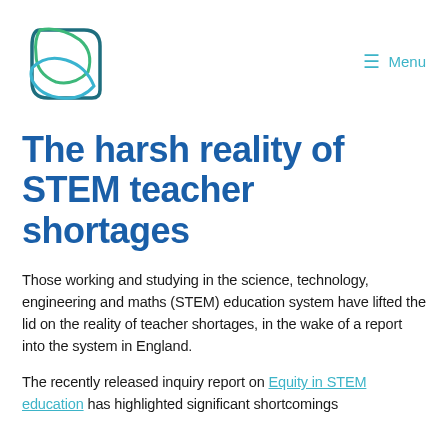[Figure (logo): STEM Learning organization logo: two overlapping leaf/shield shapes in teal/green and blue outlines]
≡ Menu
The harsh reality of STEM teacher shortages
Those working and studying in the science, technology, engineering and maths (STEM) education system have lifted the lid on the reality of teacher shortages, in the wake of a report into the system in England.
The recently released inquiry report on Equity in STEM education has highlighted significant shortcomings